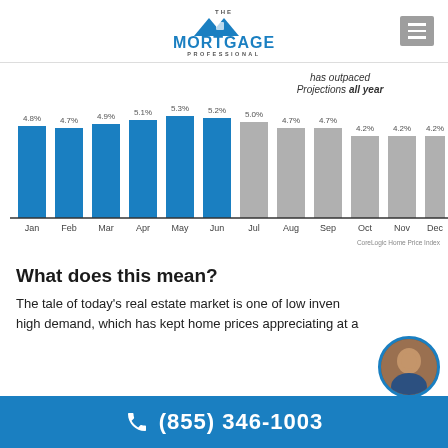[Figure (logo): The Mortgage Professional logo with blue house/mountain icon above text]
[Figure (bar-chart): has outpaced Projections all year]
What does this mean?
The tale of today's real estate market is one of low inven high demand, which has kept home prices appreciating at a steady, sustained rate all year. Here's what you need to know: